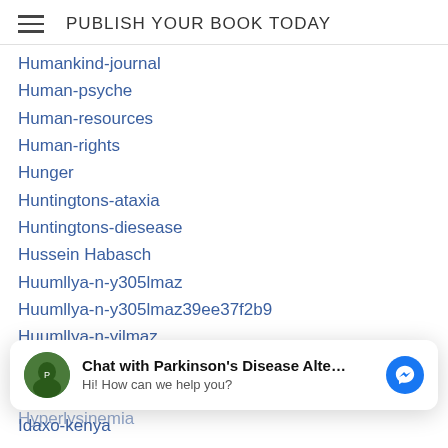PUBLISH YOUR BOOK TODAY
Humankind-journal
Human-psyche
Human-resources
Human-rights
Hunger
Huntingtons-ataxia
Huntingtons-diesease
Hussein Habasch
Huumllya-n-y305lmaz
Huumllya-n-y305lmaz39ee37f2b9
Huumllya-n-yilmaz
Huumllya-n-yilmaz
H W Bryce
Hyperlysinemia
[Figure (other): Chat widget overlay: avatar image of Parkinson's Disease Alte... with text 'Chat with Parkinson\'s Disease Alte...' and 'Hi! How can we help you?' and a blue Messenger icon]
Idaxo-kenya